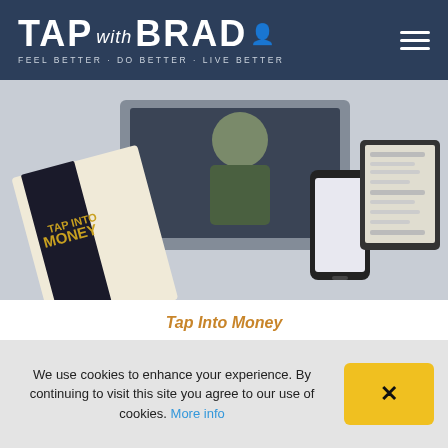TAP with BRAD — FEEL BETTER · DO BETTER · LIVE BETTER
[Figure (photo): Product shot showing a physical book titled 'TAP INTO MONEY', a laptop with a person, a smartphone, and a tablet displaying course materials]
Tap Into Money
The 7-Step Program For Finacial Fitness
Activate core-level money magnetism for life-changing
We use cookies to enhance your experience. By continuing to visit this site you agree to our use of cookies. More info